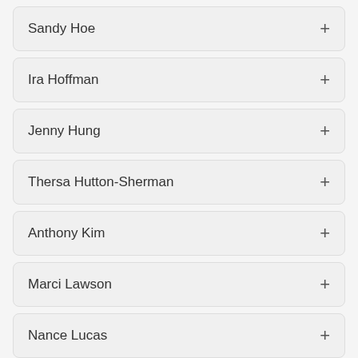Sandy Hoe
Ira Hoffman
Jenny Hung
Thersa Hutton-Sherman
Anthony Kim
Marci Lawson
Nance Lucas